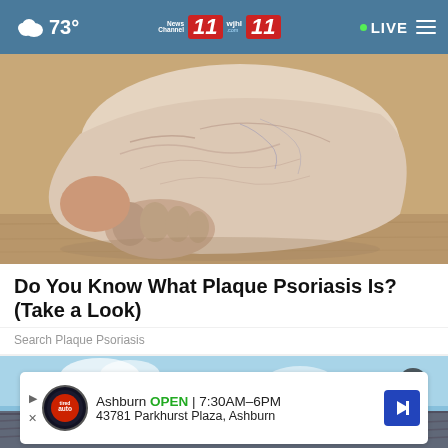73° News Channel 11 wjhl 11 LIVE
[Figure (photo): Close-up photo of a human foot/ankle showing dry, cracked, and irritated skin indicative of plaque psoriasis, resting on a wooden floor surface.]
Do You Know What Plaque Psoriasis Is? (Take a Look)
Search Plaque Psoriasis
[Figure (photo): Partial outdoor scene showing a rooftop with a chimney against a blue sky, partially obscured by an advertisement overlay.]
Ashburn OPEN | 7:30AM–6PM 43781 Parkhurst Plaza, Ashburn